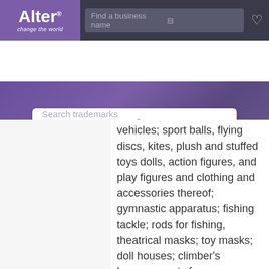[Figure (screenshot): Alter trademark search website header with purple logo box showing 'Alter change the world', a search field 'Find a business name' with filter icon, and a heart icon on dark background.]
[Figure (screenshot): Purple hero section with a white search box containing placeholder text 'Search trademarks (e.g. apple, google, face' and a magnifying glass icon.]
vehicles; sport balls, flying discs, kites, plush and stuffed toys dolls, action figures, and play figures and clothing and accessories thereof; gymnastic apparatus; fishing tackle; rods for fishing, theatrical masks; toy masks; doll houses; climber's harness; party favors